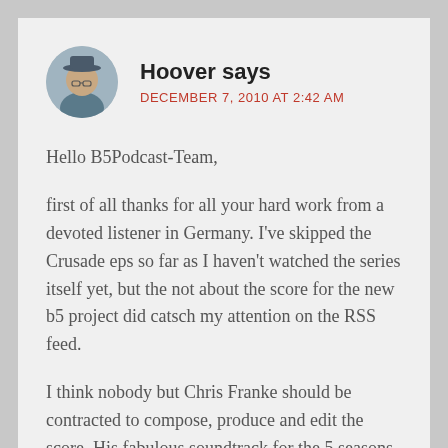Hoover says
DECEMBER 7, 2010 AT 2:42 AM
Hello B5Podcast-Team,
first of all thanks for all your hard work from a devoted listener in Germany. I've skipped the Crusade eps so far as I haven't watched the series itself yet, but the not about the score for the new b5 project did catsch my attention on the RSS feed.
I think nobody but Chris Franke should be contracted to compose, produce and edit the score. His fabulous soundtrack for the 5 seasons provide at least 50% of the